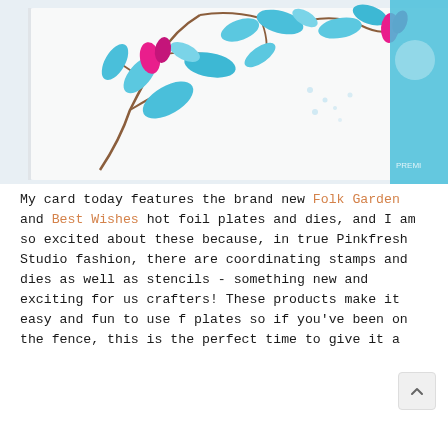[Figure (photo): Close-up photo of a handmade card featuring colorful floral folk art with blue and magenta/pink flowers and leaves, with brown stems on white background. Partially visible Pinkfresh Studio product packaging visible at right edge.]
My card today features the brand new Folk Garden and Best Wishes hot foil plates and dies, and I am so excited about these because, in true Pinkfresh Studio fashion, there are coordinating stamps and dies as well as stencils - something new and exciting for us crafters! These products make it easy and fun to use f plates so if you've been on the fence, this is the perfect time to give it a